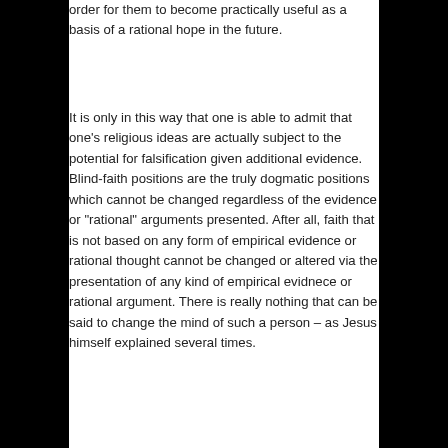order for them to become practically useful as a basis of a rational hope in the future.
It is only in this way that one is able to admit that one’s religious ideas are actually subject to the potential for falsification given additional evidence. Blind-faith positions are the truly dogmatic positions which cannot be changed regardless of the evidence or “rational” arguments presented. After all, faith that is not based on any form of empirical evidence or rational thought cannot be changed or altered via the presentation of any kind of empirical evidnece or rational argument. There is really nothing that can be said to change the mind of such a person – as Jesus himself explained several times.